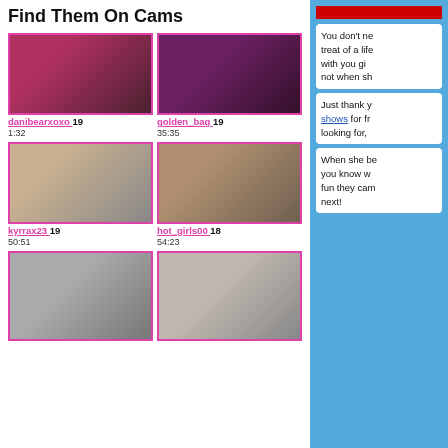Find Them On Cams
[Figure (photo): Grid of 6 webcam thumbnail images with usernames, ages, and timestamps]
You don't ne... treat of a life... with you gi... not when sh...
Just thank y... shows for fr... looking for,...
When she be... you know w... fun they cam... next!